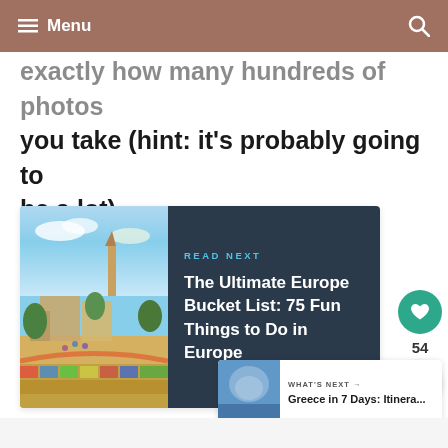Menu
exactly how many hundreds of photos you take (hint: it’s probably going to be a lot).
[Figure (screenshot): Read Next card with image of Park Guell Barcelona on the left, dark blue background on the right with text: READ NEXT / The Ultimate Europe Bucket List: 75 Fun Things to Do in Europe]
54
WHAT’S NEXT → Greece in 7 Days: Itinera...